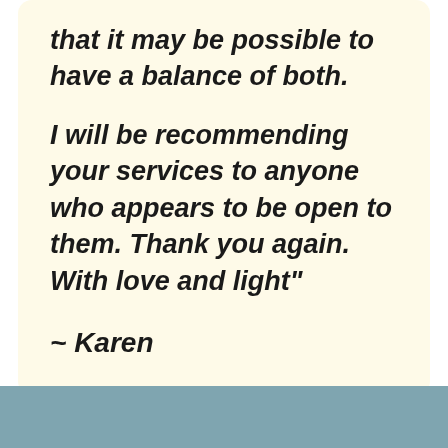that it may be possible to have a balance of both.

I will be recommending your services to anyone who appears to be open to them. Thank you again. With love and light"

~ Karen